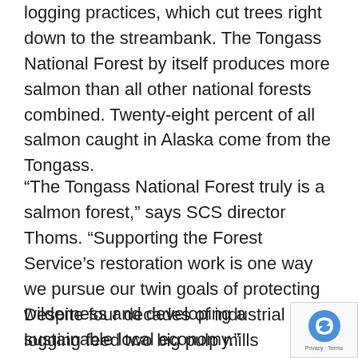logging practices, which cut trees right down to the streambank. The Tongass National Forest by itself produces more salmon than all other national forests combined. Twenty-eight percent of all salmon caught in Alaska come from the Tongass.
“The Tongass National Forest truly is a salmon forest,” says SCS director Thoms. “Supporting the Forest Service’s restoration work is one way we pursue our twin goals of protecting wilderness and developing a sustainable local economy.”
Despite four decades of industrial logging feed two big pulp mills that closed in the 1990s, the Tongass still holds large stands of